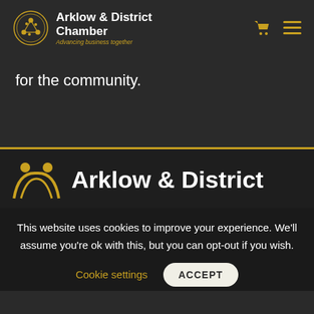Arklow & District Chamber — Advancing business together
for the community.
[Figure (logo): Arklow & District Chamber logo with circular icon and bold text]
This website uses cookies to improve your experience. We'll assume you're ok with this, but you can opt-out if you wish.
Cookie settings   ACCEPT